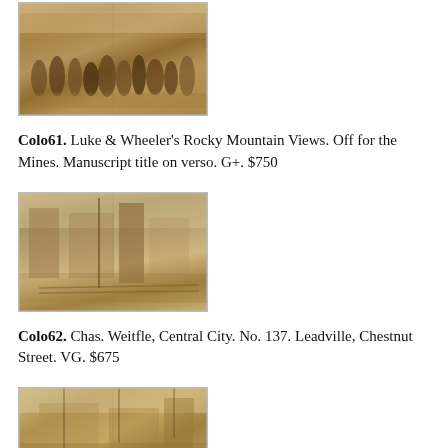[Figure (photo): Sepia stereoview photograph showing a crowd of people in front of buildings, titled 'Off for the Mines']
Colo61. Luke & Wheeler's Rocky Mountain Views. Off for the Mines. Manuscript title on verso. G+. $750
[Figure (photo): Sepia stereoview photograph showing Leadville, Chestnut Street scene by Chas. Weitfle, Central City]
Colo62. Chas. Weitfle, Central City. No. 137. Leadville, Chestnut Street. VG. $675
[Figure (photo): Sepia stereoview photograph showing a landscape/townscape scene, partially visible at page bottom]